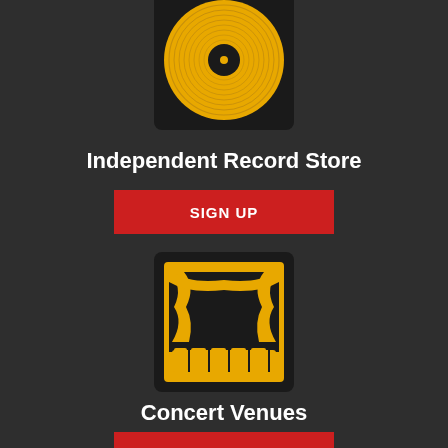[Figure (illustration): Vinyl record icon - yellow record on black square background]
Independent Record Store
SIGN UP
[Figure (illustration): Concert venue / theater curtain icon - yellow stage with curtains on black square background]
Concert Venues
SIGN UP
[Figure (illustration): Guitar/music icon - yellow guitar or instrument on black square, partially visible at bottom]